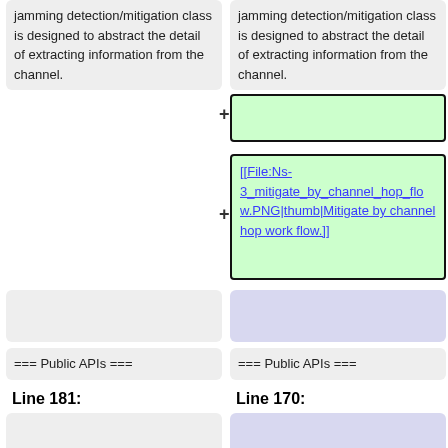jamming detection/mitigation class is designed to abstract the detail of extracting information from the channel.
jamming detection/mitigation class is designed to abstract the detail of extracting information from the channel.
[[File:Ns-3_mitigate_by_channel_hop_flow.PNG|thumb|Mitigate by channel hop work flow.]]
=== Public APIs ===
=== Public APIs ===
Line 181:
Line 170:
=== Overview ===
=== Overview ===